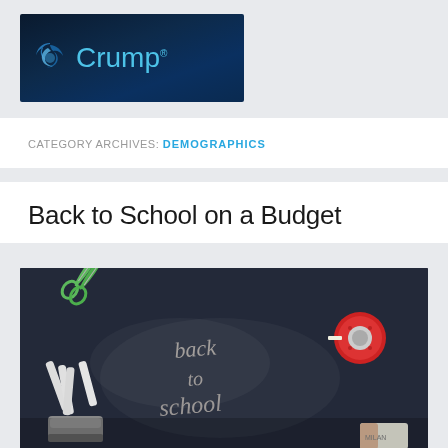[Figure (logo): Crump logo on dark navy background with circular swoosh icon in blue and grey tones]
CATEGORY ARCHIVES: DEMOGRAPHICS
Back to School on a Budget
[Figure (photo): Dark chalkboard with school supplies: green scissors, white chalk sticks, a stapler, a red tape measure, and an eraser. Chalk cursive writing reads 'back to school'.]